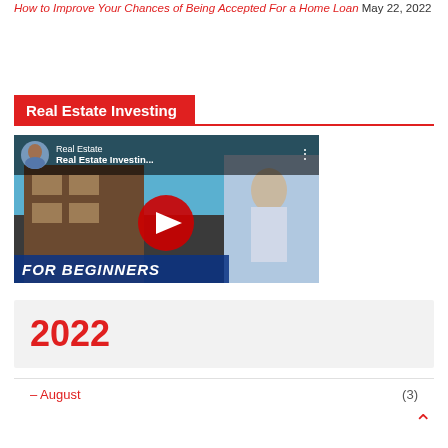How to Improve Your Chances of Being Accepted For a Home Loan May 22, 2022
Real Estate Investing
[Figure (screenshot): YouTube video thumbnail for 'Real Estate Investing...' showing a man in front of a building with 'FOR BEGINNERS' text overlay and a red play button.]
2022
– August (3)